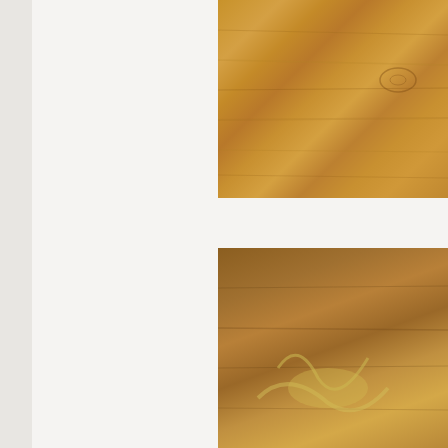[Figure (photo): Partial view of a wooden surface/board with warm golden-brown wood grain texture, cropped at top-right of page]
A pyramid of potatoes, peas and onions smothered in Ind
[Figure (photo): Partial view of food on a wooden surface with warm brown tones, cropped at bottom-right of page]